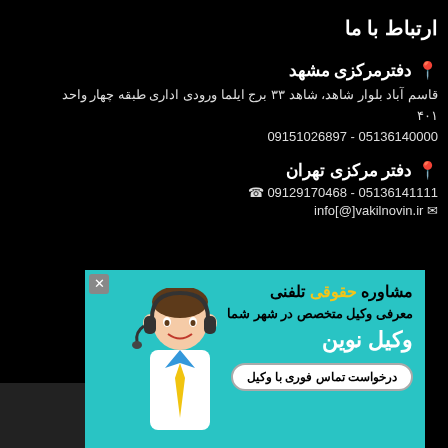ارتباط با ما
📍 دفترمرکزی مشهد
قاسم آباد بلوار شاهد، شاهد ۳۳ برج ایلما ورودی اداری طبقه چهار واحد ۴۰۱
09151026897 - 05136140000
📍 دفتر مرکزی تهران
09129170468 - 05136141111
info[@]vakilnovin.ir
[Figure (infographic): Advertisement banner for Vakil Novin legal consultation service: مشاوره حقوقی تلفنی، معرفی وکیل متخصص در شهر شما، وکیل نوین، درخواست تماس فوری با وکیل]
تایی بشناسید!!